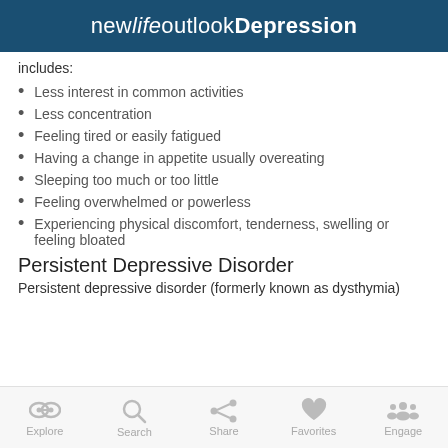new life outlook Depression
includes:
Less interest in common activities
Less concentration
Feeling tired or easily fatigued
Having a change in appetite usually overeating
Sleeping too much or too little
Feeling overwhelmed or powerless
Experiencing physical discomfort, tenderness, swelling or feeling bloated
Persistent Depressive Disorder
Persistent depressive disorder (formerly known as dysthymia)
Explore  Search  Share  Favorites  Engage